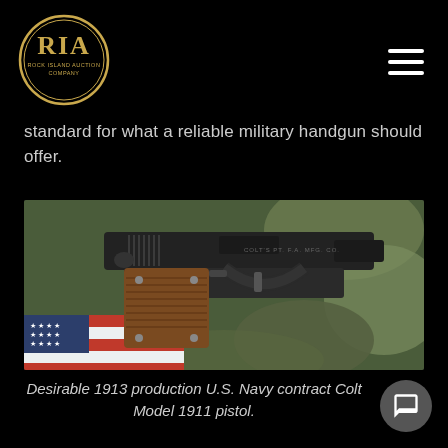RIA Rock Island Auction Company
standard for what a reliable military handgun should offer.
[Figure (photo): Colt Model 1911 pistol photographed on an American flag and camouflage background — a 1913 production U.S. Navy contract pistol with brown checkered grips and blued finish.]
Desirable 1913 production U.S. Navy contract Colt Model 1911 pistol.